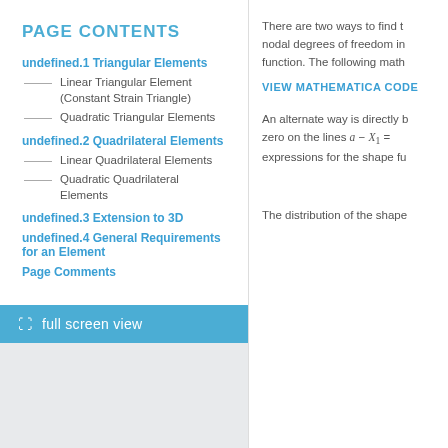PAGE CONTENTS
undefined.1 Triangular Elements
Linear Triangular Element (Constant Strain Triangle)
Quadratic Triangular Elements
undefined.2 Quadrilateral Elements
Linear Quadrilateral Elements
Quadratic Quadrilateral Elements
undefined.3 Extension to 3D
undefined.4 General Requirements for an Element
Page Comments
There are two ways to find the nodal degrees of freedom in function. The following math
VIEW MATHEMATICA CODE
An alternate way is directly by zero on the lines a − X1 = expressions for the shape fu
The distribution of the shape